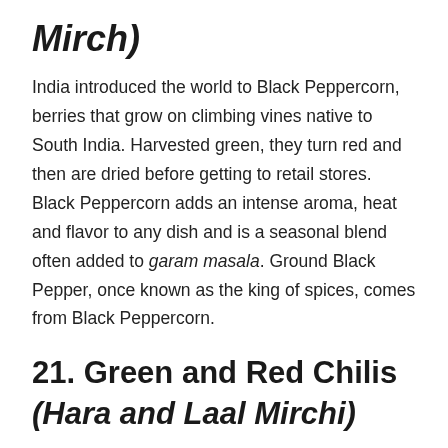Mirch)
India introduced the world to Black Peppercorn, berries that grow on climbing vines native to South India. Harvested green, they turn red and then are dried before getting to retail stores. Black Peppercorn adds an intense aroma, heat and flavor to any dish and is a seasonal blend often added to garam masala. Ground Black Pepper, once known as the king of spices, comes from Black Peppercorn.
21. Green and Red Chilis (Hara and Laal Mirchi)
Red Chili Powder is used in all standard cuisine rich in turmeric, Garam Masala, garlic, ginger and onions